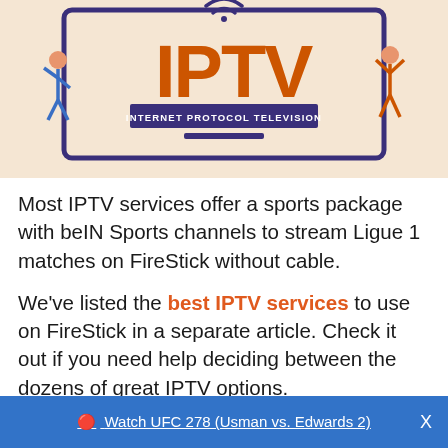[Figure (illustration): IPTV (Internet Protocol Television) logo illustration showing large orange IPTV letters inside a purple-bordered monitor/TV frame on a light peach background, with the subtitle 'INTERNET PROTOCOL TELEVISION' in a purple banner, small stick figures on the sides, and a wifi symbol on top.]
Most IPTV services offer a sports package with beIN Sports channels to stream Ligue 1 matches on FireStick without cable.
We've listed the best IPTV services to use on FireStick in a separate article. Check it out if you need help deciding between the dozens of great IPTV options.
🔴 Watch UFC 278 (Usman vs. Edwards 2)   X